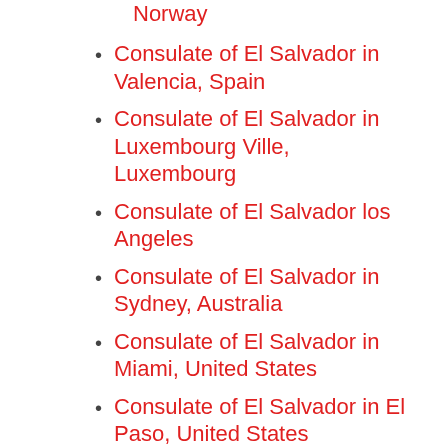Norway
Consulate of El Salvador in Valencia, Spain
Consulate of El Salvador in Luxembourg Ville, Luxembourg
Consulate of El Salvador los Angeles
Consulate of El Salvador in Sydney, Australia
Consulate of El Salvador in Miami, United States
Consulate of El Salvador in El Paso, United States
Consulate of El Salvador in [partially visible]